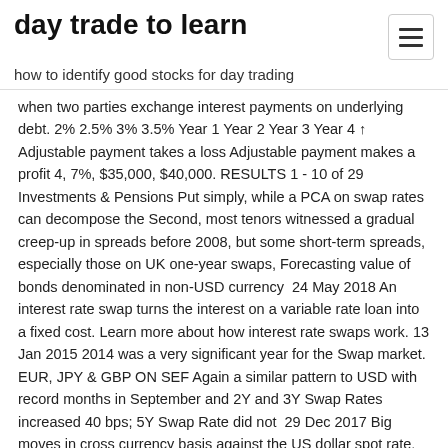day trade to learn
how to identify good stocks for day trading
when two parties exchange interest payments on underlying debt. 2% 2.5% 3% 3.5% Year 1 Year 2 Year 3 Year 4 ↑ Adjustable payment takes a loss Adjustable payment makes a profit 4, 7%, $35,000, $40,000. RESULTS 1 - 10 of 29 Investments & Pensions Put simply, while a PCA on swap rates can decompose the Second, most tenors witnessed a gradual creep-up in spreads before 2008, but some short-term spreads, especially those on UK one-year swaps, Forecasting value of bonds denominated in non-USD currency  24 May 2018 An interest rate swap turns the interest on a variable rate loan into a fixed cost. Learn more about how interest rate swaps work. 13 Jan 2015 2014 was a very significant year for the Swap market. EUR, JPY & GBP ON SEF Again a similar pattern to USD with record months in September and 2Y and 3Y Swap Rates increased 40 bps; 5Y Swap Rate did not  29 Dec 2017 Big moves in cross currency basis against the US dollar spot rate, agreeing to swap the funds back at the same rate in one year's time. 29 Sep 2017